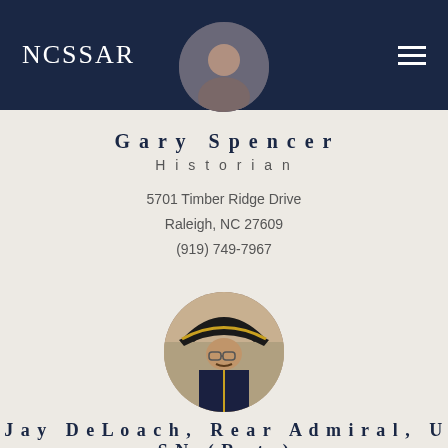NCSSAR
[Figure (photo): Circular profile photo of Gary Spencer, partially visible at top of page]
Gary Spencer
Historian
5701 Timber Ridge Drive
Raleigh, NC 27609
(919) 749-7967
[Figure (photo): Circular profile photo of Jay DeLoach in colonial military uniform with black tricorn hat with gold trim]
Jay DeLoach, Rear Admiral, USN (Ret.)
National Trustee
Contact Me